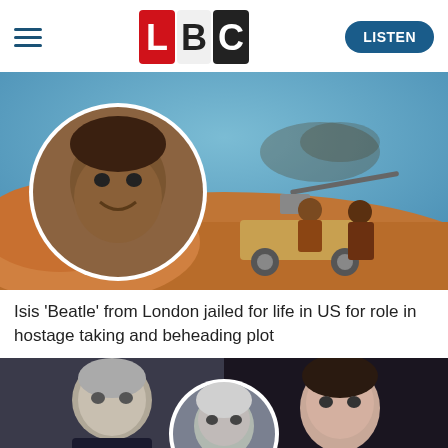LBC | LISTEN
[Figure (photo): Main news image showing ISIS fighters with mounted gun on a vehicle in a desert, with a circular inset portrait of a young Black man against the background.]
Isis 'Beatle' from London jailed for life in US for role in hostage taking and beheading plot
[Figure (photo): Bottom news image showing a grey-haired man on the left, a circular inset of an older man in the center, and a dark-haired woman on the right.]